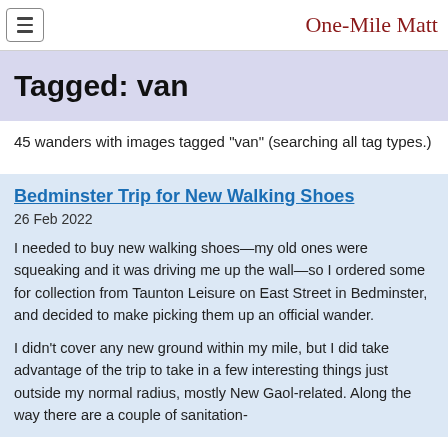One-Mile Matt
Tagged: van
45 wanders with images tagged "van" (searching all tag types.)
Bedminster Trip for New Walking Shoes
26 Feb 2022
I needed to buy new walking shoes—my old ones were squeaking and it was driving me up the wall—so I ordered some for collection from Taunton Leisure on East Street in Bedminster, and decided to make picking them up an official wander.
I didn't cover any new ground within my mile, but I did take advantage of the trip to take in a few interesting things just outside my normal radius, mostly New Gaol-related. Along the way there are a couple of sanitation-